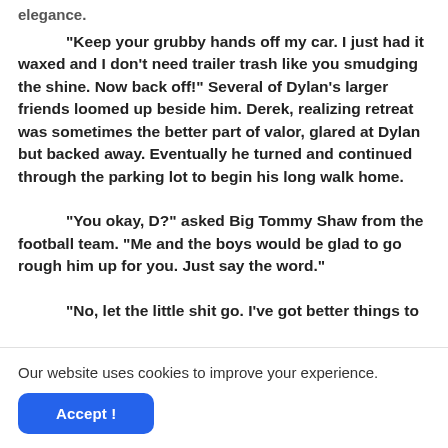elegance.
“Keep your grubby hands off my car. I just had it waxed and I don’t need trailer trash like you smudging the shine. Now back off!” Several of Dylan’s larger friends loomed up beside him. Derek, realizing retreat was sometimes the better part of valor, glared at Dylan but backed away. Eventually he turned and continued through the parking lot to begin his long walk home.
“You okay, D?” asked Big Tommy Shaw from the football team. “Me and the boys would be glad to go rough him up for you. Just say the word.”
“No, let the little shit go. I’ve got better things to
Our website uses cookies to improve your experience.
Accept !